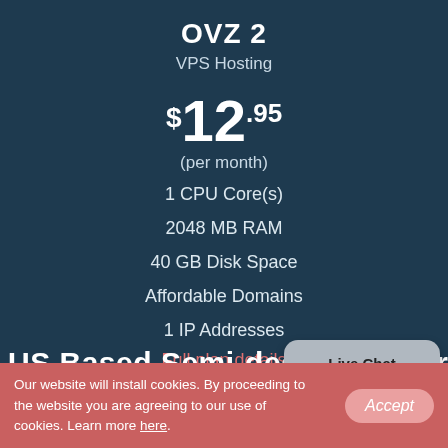OVZ 2
VPS Hosting
$12.95
(per month)
1 CPU Core(s)
2048 MB RAM
40 GB Disk Space
Affordable Domains
1 IP Addresses
Full plan details
Purchase
Live Chat Offline
US Based Semi-dedicated Servers
Our website will install cookies. By proceeding to the website you are agreeing to our use of cookies. Learn more here.